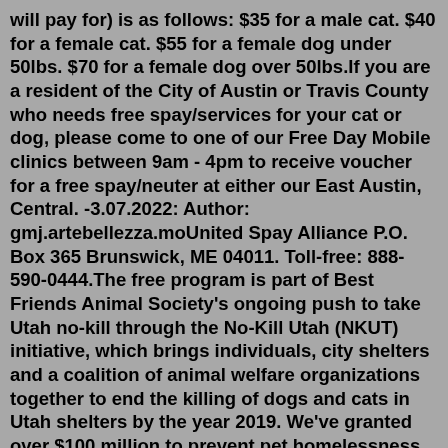will pay for) is as follows: $35 for a male cat. $40 for a female cat. $55 for a female dog under 50lbs. $70 for a female dog over 50lbs.If you are a resident of the City of Austin or Travis County who needs free spay/services for your cat or dog, please come to one of our Free Day Mobile clinics between 9am - 4pm to receive voucher for a free spay/neuter at either our East Austin, Central. -3.07.2022: Author: gmj.artebellezza.moUnited Spay Alliance P.O. Box 365 Brunswick, ME 04011. Toll-free: 888-590-0444.The free program is part of Best Friends Animal Society's ongoing push to take Utah no-kill through the No-Kill Utah (NKUT) initiative, which brings individuals, city shelters and a coalition of animal welfare organizations together to end the killing of dogs and cats in Utah shelters by the year 2019. We've granted over $100 million to prevent pet homelessness through spay and neuter initiatives. Find a low-cost spay and neuter clinic near you.Free Voucher funding is provided by California Dept. of Food and Agriculture Prevention of Animal Homelessness and